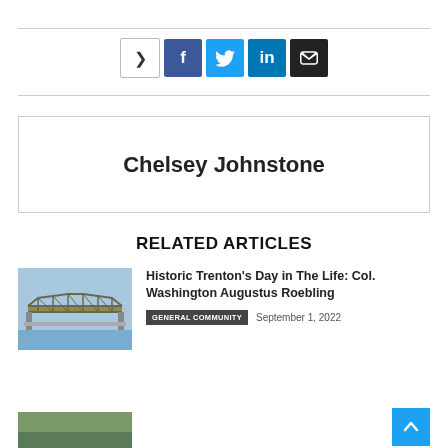[Figure (infographic): Social share bar with share icon, Facebook, Twitter, LinkedIn, and email buttons]
Chelsey Johnstone
RELATED ARTICLES
[Figure (photo): Photo of a steel truss bridge over a river]
Historic Trenton's Day in The Life: Col. Washington Augustus Roebling
GENERAL COMMUNITY   September 1, 2022